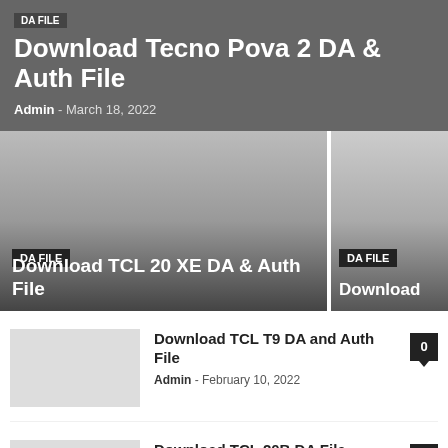Download Tecno Pova 2 DA & Auth File
Admin - March 18, 2022
[Figure (screenshot): Featured image card for Download TCL 20 XE DA & Auth File with DA FILE badge]
Download TCL 20 XE DA & Auth File
[Figure (screenshot): Partial featured image card with DA FILE badge and partial title Download]
Download TCL T9 DA and Auth File
Admin - February 10, 2022
Download TCL 20B DA File
Admin - February 8, 2022